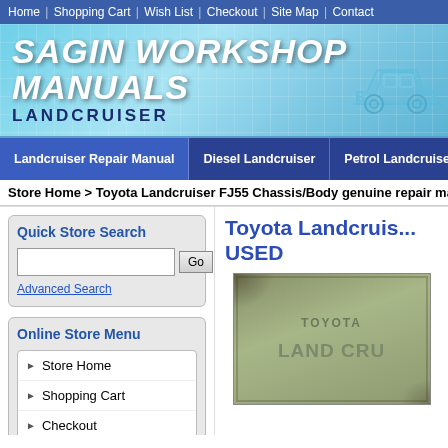Home | Shopping Cart | Wish List | Checkout | Site Map | Contact
[Figure (logo): Sagin Workshop Manuals - Landcruiser banner with car illustration and grid background]
Landcruiser Repair Manual | Diesel Landcruiser | Petrol Landcruiser | P
Store Home > Toyota Landcruiser FJ55 Chassis/Body genuine repair manual U
Quick Store Search
Advanced Search
Online Store Menu
Store Home
Shopping Cart
Checkout
Advanced Search
Toyota Landcruis... USED
[Figure (photo): Cover of Toyota Land Cruiser repair manual book, green worn cover with text TOYOTA LAND CRU...]